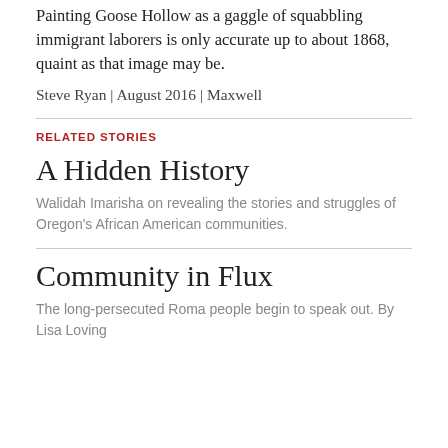Painting Goose Hollow as a gaggle of squabbling immigrant laborers is only accurate up to about 1868, quaint as that image may be.
Steve Ryan | August 2016 | Maxwell
RELATED STORIES
A Hidden History
Walidah Imarisha on revealing the stories and struggles of Oregon's African American communities.
Community in Flux
The long-persecuted Roma people begin to speak out. By Lisa Loving